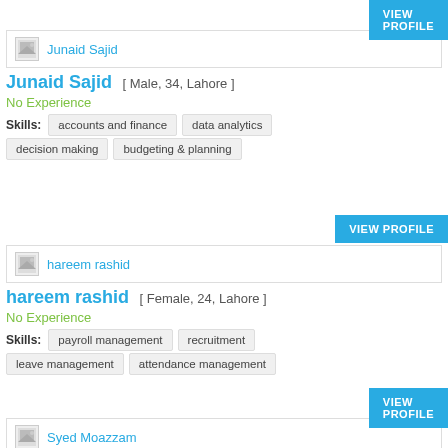VIEW PROFILE
[Figure (other): Profile photo placeholder for Junaid Sajid]
Junaid Sajid
Junaid Sajid [ Male, 34, Lahore ]
No Experience
Skills: accounts and finance  data analytics  decision making  budgeting & planning
VIEW PROFILE
[Figure (other): Profile photo placeholder for hareem rashid]
hareem rashid
hareem rashid [ Female, 24, Lahore ]
No Experience
Skills: payroll management  recruitment  leave management  attendance management
VIEW PROFILE
[Figure (other): Profile photo placeholder for Syed Moazzam]
Syed Moazzam
Syed Moazzam [ Male, 28, Karachi ]